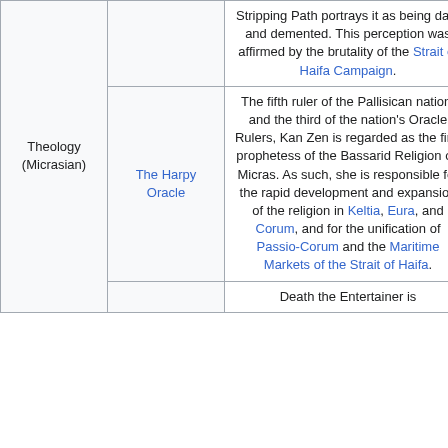| Category | Title | Description |
| --- | --- | --- |
|  |  | Stripping Path portrays it as being dark and demented. This perception was affirmed by the brutality of the Strait of Haifa Campaign. |
| Theology (Micrasian) | The Harpy Oracle | The fifth ruler of the Pallisican nation, and the third of the nation's Oracle Rulers, Kan Zen is regarded as the first prophetess of the Bassarid Religion on Micras. As such, she is responsible for the rapid development and expansion of the religion in Keltia, Eura, and Corum, and for the unification of Passio-Corum and the Maritime Markets of the Strait of Haifa. |
|  |  | Death the Entertainer is |